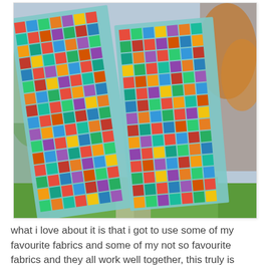[Figure (photo): A colorful patchwork quilt with many small squares of various fabrics in reds, blues, greens, yellows, purples, and other bright colors, held up outdoors against a background of green grass and trees.]
what i love about it is that i got to use some of my favourite fabrics and some of my not so favourite fabrics and they all work well together, this truly is scrappy, using near every